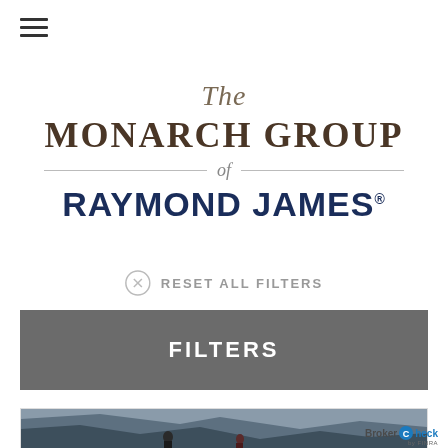[Figure (logo): Hamburger menu icon (three horizontal lines)]
[Figure (logo): The Monarch Group of Raymond James logo — 'The' in italic script, 'MONARCH GROUP' in large serif bold brown, 'of' in italic with horizontal divider lines, 'RAYMOND JAMES' in bold navy uppercase with registered trademark symbol]
RESET ALL FILTERS
FILTERS
[Figure (photo): Photo of two people outdoors with mountains in background, partially visible at bottom of page]
[Figure (logo): BrokerCheck by FINRA logo in bottom right corner]